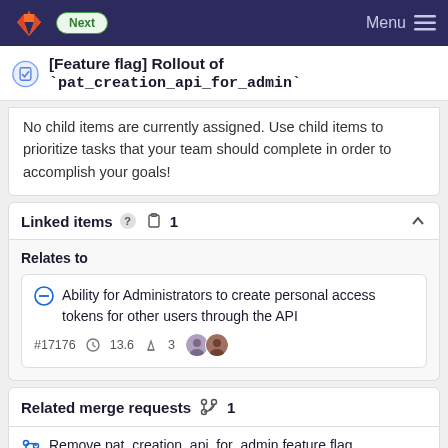Next | Menu
[Feature flag] Rollout of `pat_creation_api_for_admin`
No child items are currently assigned. Use child items to prioritize tasks that your team should complete in order to accomplish your goals!
Linked items  1
Relates to
Ability for Administrators to create personal access tokens for other users through the API
#17176  13.6  3
Related merge requests  1
Remove pat_creation_api_for_admin feature flag
!49322  13.8